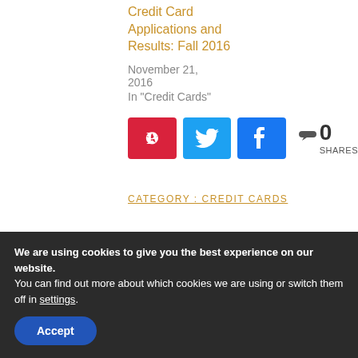Credit Card Applications and Results: Fall 2016
November 21, 2016
In "Credit Cards"
[Figure (other): Social share buttons: Pinterest (red), Twitter (light blue), Facebook (blue), with share count showing 0 SHARES]
CATEGORY : CREDIT CARDS
We are using cookies to give you the best experience on our website.
You can find out more about which cookies we are using or switch them off in settings.
Accept